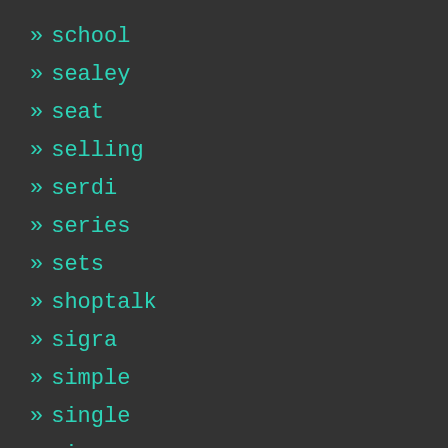» school
» sealey
» seat
» selling
» serdi
» series
» sets
» shoptalk
» sigra
» simple
» single
» sioux
» sizing
» slow